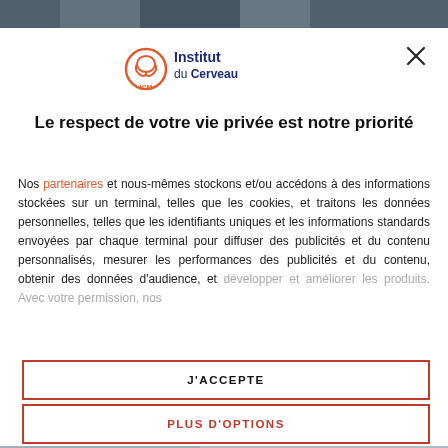[Figure (screenshot): Top banner image of a building/urban scene, partially visible behind modal overlay]
[Figure (logo): Institut du Cerveau ICM logo with orange brain icon and blue/red text]
Le respect de votre vie privée est notre priorité
Nos partenaires et nous-mêmes stockons et/ou accédons à des informations stockées sur un terminal, telles que les cookies, et traitons les données personnelles, telles que les identifiants uniques et les informations standards envoyées par chaque terminal pour diffuser des publicités et du contenu personnalisés, mesurer les performances des publicités et du contenu, obtenir des données d'audience, et développer et améliorer les produits. Avec votre permission, nos
J'ACCEPTE
PLUS D'OPTIONS
bottom image text (blurred/faded)